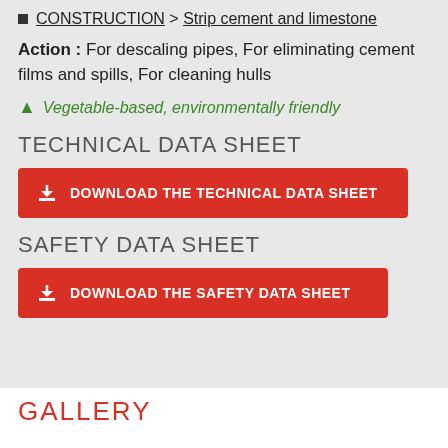CONSTRUCTION > Strip cement and limestone
Action : For descaling pipes, For eliminating cement films and spills, For cleaning hulls
🌲 Vegetable-based, environmentally friendly
TECHNICAL DATA SHEET
DOWNLOAD THE TECHNICAL DATA SHEET
SAFETY DATA SHEET
DOWNLOAD THE SAFETY DATA SHEET
GALLERY